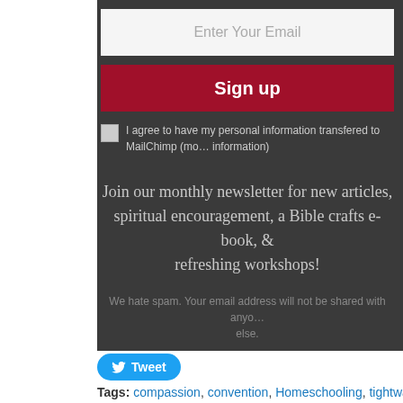Enter Your Email
Sign up
I agree to have my personal information transfered to MailChimp (more information)
Join our monthly newsletter for new articles, spiritual encouragement, a Bible crafts e-book, & refreshing workshops!
We hate spam. Your email address will not be shared with anyone else.
Tweet
Tags: compassion, convention, Homeschooling, tightwad
This entry was posted on Thursday, March 31st, 2011 at 2:13 pm and is filed under Homeschooling. You can follow any responses to this entry through the RSS 2.0